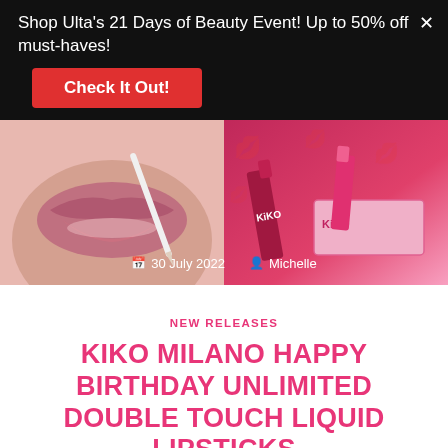Shop Ulta's 21 Days of Beauty Event! Up to 50% off must-haves!
Check It Out!
[Figure (photo): Two side-by-side images: left shows a close-up of lips with a lip liner pencil, right shows KIKO Milano lipstick products on pink background. Overlay text shows date '30 July 2022' and author 'Michelle'.]
NEW RELEASES
KIKO MILANO HAPPY BIRTHDAY UNLIMITED DOUBLE TOUCH LIQUID LIPSTICKS
Kiko Milano just released their new Happy